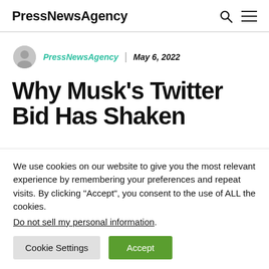PressNewsAgency
PressNewsAgency | May 6, 2022
Why Musk's Twitter Bid Has Shaken
We use cookies on our website to give you the most relevant experience by remembering your preferences and repeat visits. By clicking "Accept", you consent to the use of ALL the cookies. Do not sell my personal information.